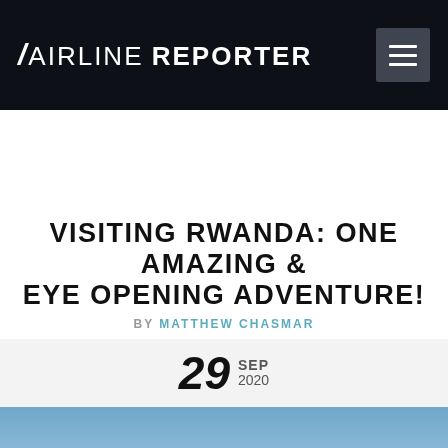AIRLINE REPORTER
VISITING RWANDA: ONE AMAZING & EYE OPENING ADVENTURE!
BY MATTHEW CHASMAR
29 SEP 2020
[Figure (photo): Blue sky with clouds, partial view of aircraft below]